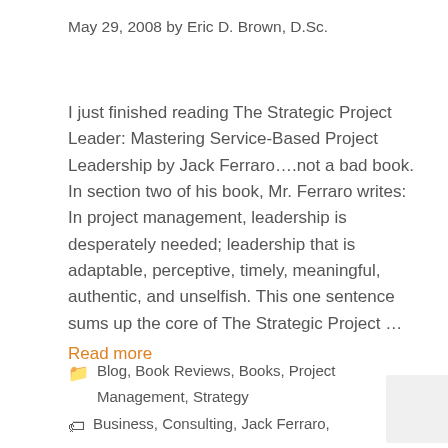May 29, 2008 by Eric D. Brown, D.Sc.
I just finished reading The Strategic Project Leader: Mastering Service-Based Project Leadership by Jack Ferraro….not a bad book. In section two of his book, Mr. Ferraro writes: In project management, leadership is desperately needed; leadership that is adaptable, perceptive, timely, meaningful, authentic, and unselfish. This one sentence sums up the core of The Strategic Project …
Read more
Blog, Book Reviews, Books, Project Management, Strategy
Business, Consulting, Jack Ferraro,